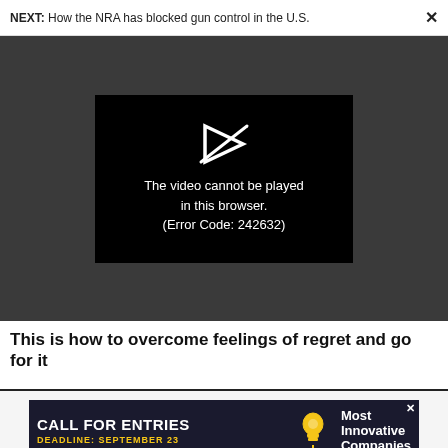NEXT: How the NRA has blocked gun control in the U.S.
[Figure (screenshot): Video player showing error message: 'The video cannot be played in this browser. (Error Code: 242632)']
This is how to overcome feelings of regret and go for it
Advertise | Privacy Policy | Terms | Notice of Collection | Do Not Sell My Data | Permissions | Help
[Figure (infographic): Advertisement banner: CALL FOR ENTRIES, DEADLINE: SEPTEMBER 23, Most Innovative Companies]